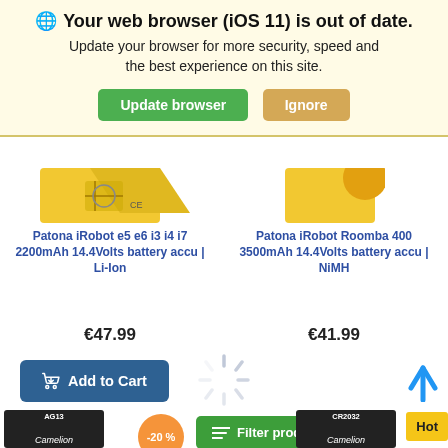🌐 Your web browser (iOS 11) is out of date. Update your browser for more security, speed and the best experience on this site.
Update browser | Ignore
Patona iRobot e5 e6 i3 i4 i7 2200mAh 14.4Volts battery accu | Li-Ion
€47.99
Add to Cart
Patona iRobot Roomba 400 3500mAh 14.4Volts battery accu | NiMH
€41.99
[Figure (infographic): Loading spinner icon]
Filter products
AG13 Camelion (partial product thumbnail, dark background)
-20 %
CR2032 Camelion (partial product thumbnail, dark background)
Hot